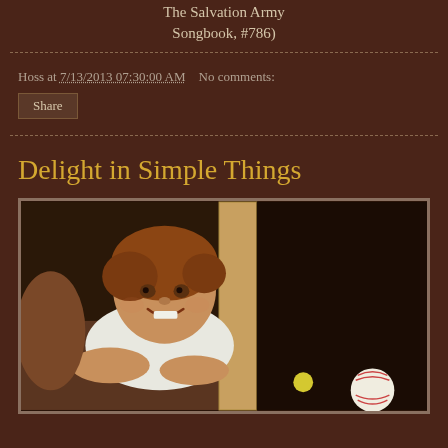The Salvation Army Songbook, #786)
Hoss at 7/13/2013 07:30:00 AM   No comments:
Share
Delight in Simple Things
[Figure (photo): A young toddler with curly reddish-brown hair smiling and crawling under a piece of wooden furniture. The child is wearing a white shirt. In the lower right corner there is a baseball and what appears to be a small yellow ball. The photo is taken from a low angle indoors.]